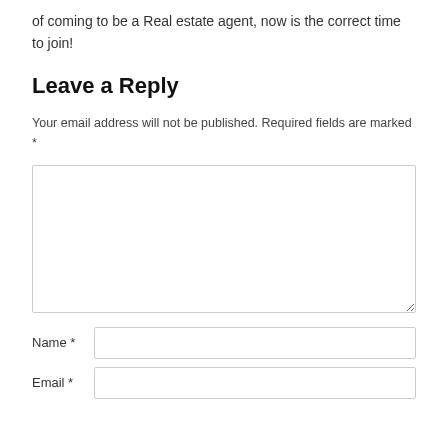of coming to be a Real estate agent, now is the correct time to join!
Leave a Reply
Your email address will not be published. Required fields are marked *
[Figure (screenshot): A large empty textarea input box for comment entry]
Name *
Email *